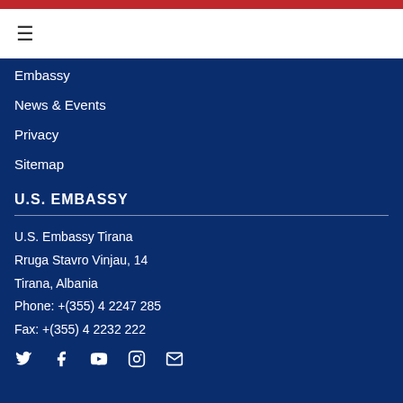Embassy
News & Events
Privacy
Sitemap
U.S. EMBASSY
U.S. Embassy Tirana
Rruga Stavro Vinjau, 14
Tirana, Albania
Phone: +(355) 4 2247 285
Fax: +(355) 4 2232 222